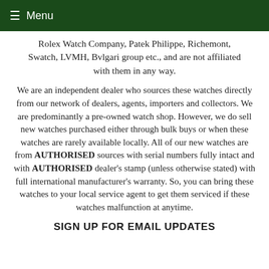≡ Menu
Rolex Watch Company, Patek Philippe, Richemont, Swatch, LVMH, Bvlgari group etc., and are not affiliated with them in any way.
We are an independent dealer who sources these watches directly from our network of dealers, agents, importers and collectors. We are predominantly a pre-owned watch shop. However, we do sell new watches purchased either through bulk buys or when these watches are rarely available locally. All of our new watches are from AUTHORISED sources with serial numbers fully intact and with AUTHORISED dealer's stamp (unless otherwise stated) with full international manufacturer's warranty. So, you can bring these watches to your local service agent to get them serviced if these watches malfunction at anytime.
SIGN UP FOR EMAIL UPDATES